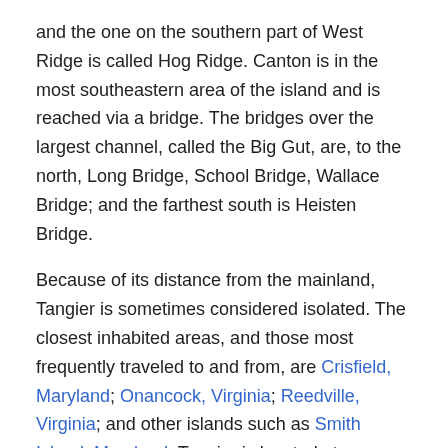and the one on the southern part of West Ridge is called Hog Ridge. Canton is in the most southeastern area of the island and is reached via a bridge. The bridges over the largest channel, called the Big Gut, are, to the north, Long Bridge, School Bridge, Wallace Bridge; and the farthest south is Heisten Bridge.
Because of its distance from the mainland, Tangier is sometimes considered isolated. The closest inhabited areas, and those most frequently traveled to and from, are Crisfield, Maryland; Onancock, Virginia; Reedville, Virginia; and other islands such as Smith Island, Maryland. Tangier is located at 37°49′33″N 75°59′32″W.[20] According to the United States Census Bureau, the town has a total area of 1.2 square miles (3.2 km2), all of it land.[21]
Reduction in land mass